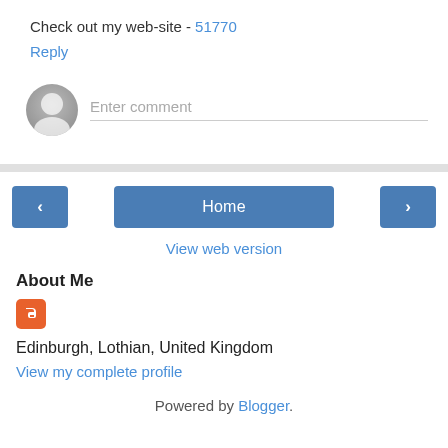Check out my web-site - 51770
Reply
Enter comment
Home
View web version
About Me
Edinburgh, Lothian, United Kingdom
View my complete profile
Powered by Blogger.